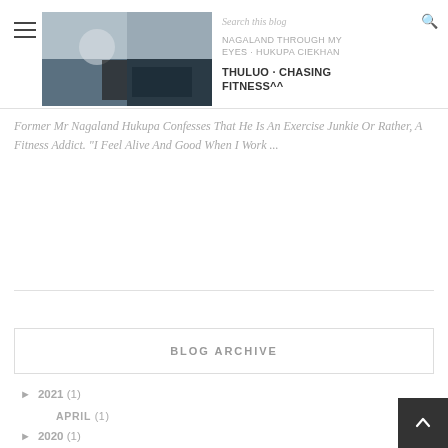NAGALAND THROUGH MY EYES - HUKUPA CIEKHAN | Search this blog
THULUO · CHASING FITNESS^^
Former Mr Nagaland Hukupa Confesses That He Is An Exercise Junkie Or Rather, A Fitness Addict. "I Feel Alive And Good When I Work ...
BLOG ARCHIVE
► 2021 (1)
APRIL (1)
► 2020 (1)
APRIL (1)